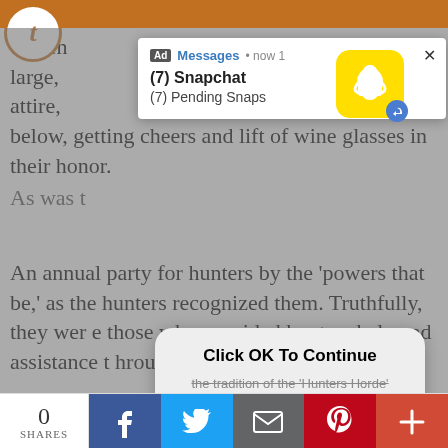[Figure (screenshot): Screenshot of a webpage with a Snapchat notification ad popup at the top showing '(7) Snapchat' and '(7) Pending Snaps', an OK modal dialog in the center with 'Click OK To Continue' text and strikethrough text 'the tradition of the Hunters Horde', and article text visible behind/around the overlays. Bottom social share bar shows 0 SHARES with Facebook, Twitter, email, Pinterest, and plus buttons.]
oween ... large, ... attire, ... below, getting cheers and lift of wine glasses in their honor.
As was the tradition of the 'Hunters Horde'
An annual party for hunters by the 'powers that be,' as the hunters recognized them. Truthfully, they were those who provided hunters help and assistance through various means.